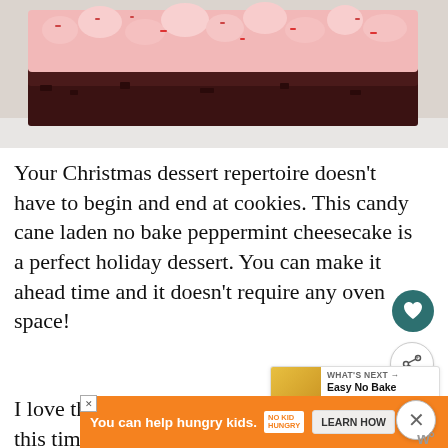[Figure (photo): A slice of no-bake peppermint cheesecake with pink/white frosting on top and a dark chocolate brownie base, served on a white plate.]
Your Christmas dessert repertoire doesn't have to begin and end at cookies. This candy cane laden no bake peppermint cheesecake is a perfect holiday dessert. You can make it ahead time and it doesn't require any oven space!
I love the combination of pepper... chocolate this time of year. It is just so festive